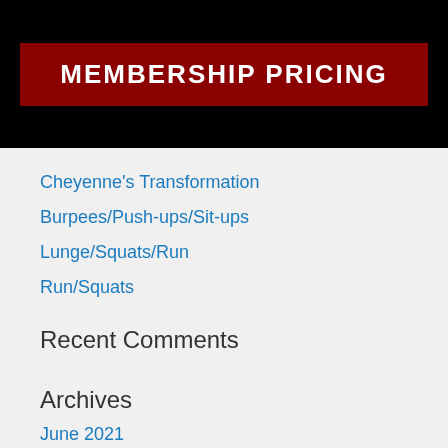MEMBERSHIP PRICING
Cheyenne's Transformation
Burpees/Push-ups/Sit-ups
Lunge/Squats/Run
Run/Squats
Recent Comments
Archives
June 2021
October 2020
March 2020